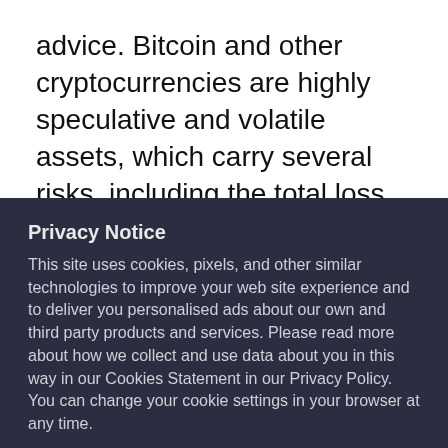advice. Bitcoin and other cryptocurrencies are highly speculative and volatile assets, which carry several risks, including the total loss of any monies invested. Readers are responsible for...
Privacy Notice
This site uses cookies, pixels, and other similar technologies to improve your web site experience and to deliver you personalised ads about our own and third party products and services. Please read more about how we collect and use data about you in this way in our Cookies Statement in our Privacy Policy. You can change your cookie settings in your browser at any time.